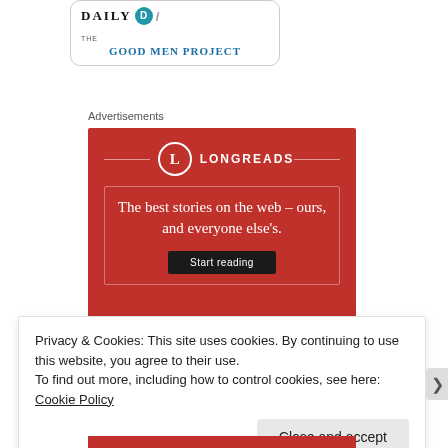[Figure (logo): The Good Men Project logo card with 'DAILY' text, a teal circle with 'D', slash, and 'THE GOOD MEN PROJECT' in blue serif text, inside a rounded rectangle border]
Advertisements
[Figure (illustration): Longreads advertisement banner on red background. Shows 'L' in a circle logo, 'LONGREADS' text, decorative inner border, and tagline 'The best stories on the web – ours, and everyone else's.' with a 'Start reading' button.]
Privacy & Cookies: This site uses cookies. By continuing to use this website, you agree to their use.
To find out more, including how to control cookies, see here: Cookie Policy
Close and accept